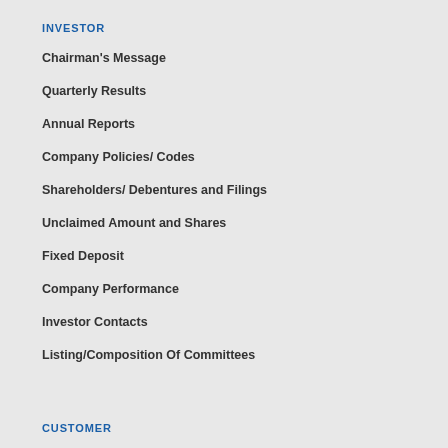INVESTOR
Chairman's Message
Quarterly Results
Annual Reports
Company Policies/ Codes
Shareholders/ Debentures and Filings
Unclaimed Amount and Shares
Fixed Deposit
Company Performance
Investor Contacts
Listing/Composition Of Committees
CUSTOMER
Home Builders